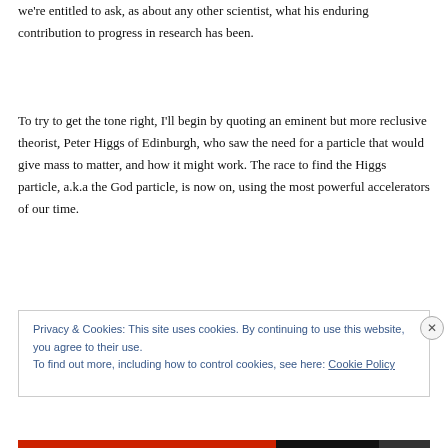we're entitled to ask, as about any other scientist, what his enduring contribution to progress in research has been.
To try to get the tone right, I'll begin by quoting an eminent but more reclusive theorist, Peter Higgs of Edinburgh, who saw the need for a particle that would give mass to matter, and how it might work. The race to find the Higgs particle, a.k.a the God particle, is now on, using the most powerful accelerators of our time.
Privacy & Cookies: This site uses cookies. By continuing to use this website, you agree to their use.
To find out more, including how to control cookies, see here: Cookie Policy